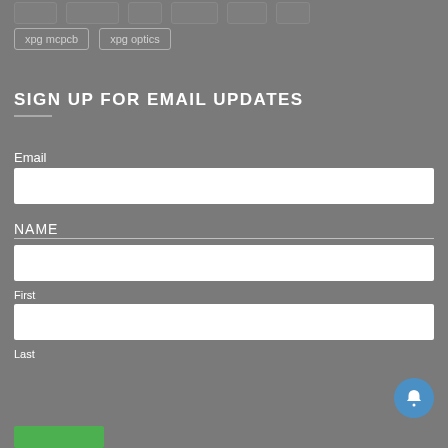xpg mcpcb
xpg optics
SIGN UP FOR EMAIL UPDATES
Email
NAME
First
Last